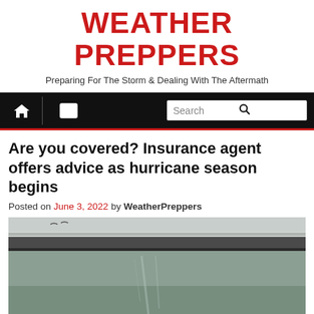WEATHER PREPPERS
Preparing For The Storm & Dealing With The Aftermath
[Figure (screenshot): Website navigation bar with home icon, menu icon, and search box on black background with red bottom border]
Are you covered? Insurance agent offers advice as hurricane season begins
Posted on June 3, 2022 by WeatherPreppers
[Figure (photo): Flooded street with a submerged green road sign reading WHITESTOCKING, water covering the road surface, guard rail visible at top]